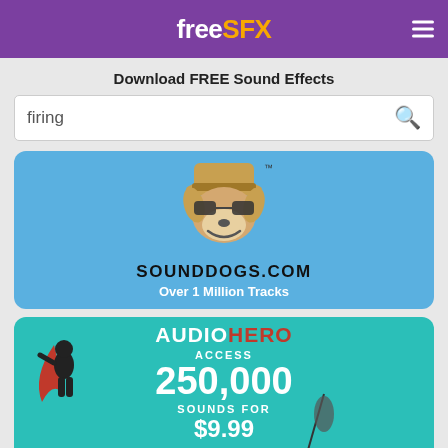freeSFX
Download FREE Sound Effects
firing
[Figure (logo): SoundDogs.com advertisement banner with cartoon dog mascot wearing sunglasses and hat on blue background. Text reads SOUNDDOGS.COM Over 1 Million Tracks]
[Figure (logo): AudioHero advertisement banner on teal background with superhero silhouette. Text reads AUDIOHERO ACCESS 250,000 SOUNDS FOR $9.99]